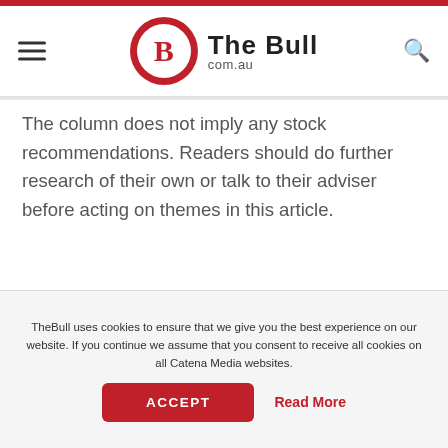The Bull com.au
The column does not imply any stock recommendations. Readers should do further research of their own or talk to their adviser before acting on themes in this article.
[Figure (advertisement): AvaOptions advertisement banner with dark blue background. Shows 'AvaOptions' in white bold text and 'Revolutionary' in orange bold text below.]
TheBull uses cookies to ensure that we give you the best experience on our website. If you continue we assume that you consent to receive all cookies on all Catena Media websites.